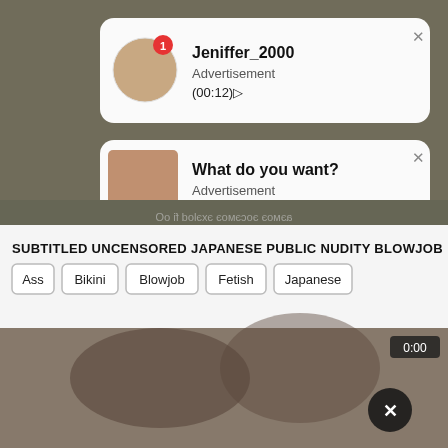[Figure (screenshot): Screenshot of a website showing two advertisement notification popups over a blurred background video, followed by a video title, tag buttons, and a video thumbnail preview.]